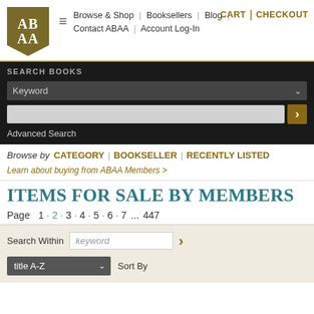[Figure (logo): ABAA logo — gold book shape with white AB/AA text]
CART | CHECKOUT
Browse & Shop | Booksellers | Blog | Contact ABAA | Account Log-In
SEARCH BOOKS
Keyword
Advanced Search
Browse by  CATEGORY | BOOKSELLER | RECENTLY LISTED
Learn about buying from ABAA Members >
ITEMS FOR SALE BY MEMBERS
Page  1 · 2 · 3 · 4 · 5 · 6 · 7 ... 447
Search Within  keyword  >
title A-Z   Sort By